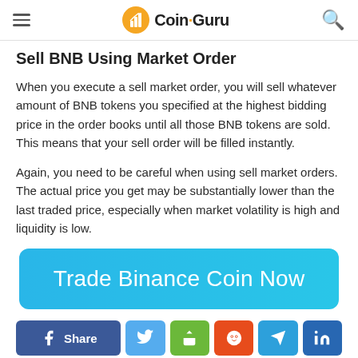Coin·Guru
Sell BNB Using Market Order
When you execute a sell market order, you will sell whatever amount of BNB tokens you specified at the highest bidding price in the order books until all those BNB tokens are sold. This means that your sell order will be filled instantly.
Again, you need to be careful when using sell market orders. The actual price you get may be substantially lower than the last traded price, especially when market volatility is high and liquidity is low.
[Figure (other): Blue rounded button with white text reading 'Trade Binance Coin Now']
[Figure (other): Social share bar with Facebook Share, Twitter, share, Reddit, Telegram, LinkedIn buttons]